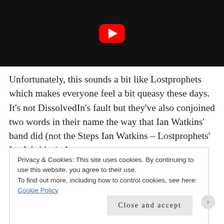[Figure (screenshot): YouTube video thumbnail showing a dark concert/crowd scene with a red YouTube play button centered at the top]
Unfortunately, this sounds a bit like Lostprophets which makes everyone feel a bit queasy these days. It’s not DissolvedIn’s fault but they’ve also conjoined two words in their name the way that Ian Watkins’ band did (not the Steps Ian Watkins – Lostprophets’ Ian Watkins). As a
Privacy & Cookies: This site uses cookies. By continuing to use this website, you agree to their use.
To find out more, including how to control cookies, see here: Cookie Policy
Close and accept